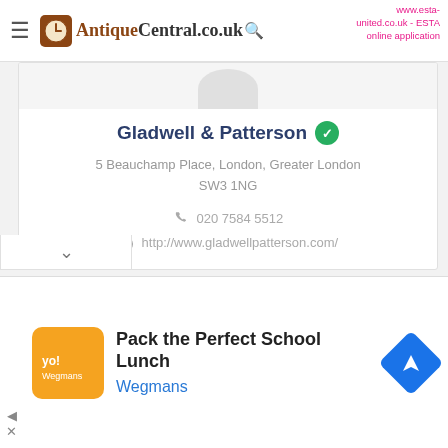AntiqueCentral.co.uk
www.esta-united.co.uk - ESTA online application
Gladwell & Patterson
5 Beauchamp Place, London, Greater London SW3 1NG
020 7584 5512
http://www.gladwellpatterson.com/
Services   7   Local
Pack the Perfect School Lunch
Wegmans